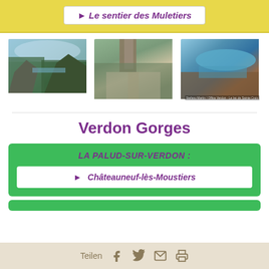► Le sentier des Muletiers
[Figure (photo): Three landscape photos of Verdon Gorges area showing rocky cliffs, hiking paths, and the lake]
Verdon Gorges
LA PALUD-SUR-VERDON :
► Châteauneuf-lès-Moustiers
Teilen